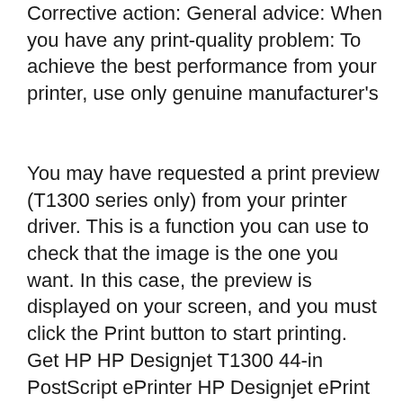Corrective action: General advice: When you have any print-quality problem: To achieve the best performance from your printer, use only genuine manufacturer's
You may have requested a print preview (T1300 series only) from your printer driver. This is a function you can use to check that the image is the one you want. In this case, the preview is displayed on your screen, and you must click the Print button to start printing. Get HP HP Designjet T1300 44-in PostScript ePrinter HP Designjet ePrint & Share - Support guide. Get all HP manuals! ManualShelf. Sign Up. Sign up to create an account Facebook Twitter. or. By clicking Create Account, you agree to the Company's